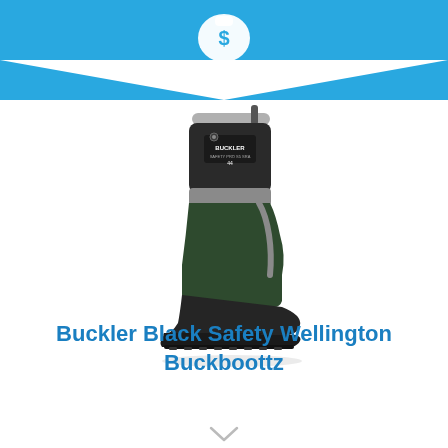[Figure (illustration): Blue chevron/arrow banner at the top of the page with a white dollar sign money bag icon in the center of the chevron point]
[Figure (photo): Black rubber safety wellington boot (Buckler Buckboottz) standing upright, side profile view, with grey accents near the top cuff and brand logo on the upper shaft]
Buckler Black Safety Wellington Buckboottz
[Figure (illustration): Small downward chevron arrow at the bottom of the page]